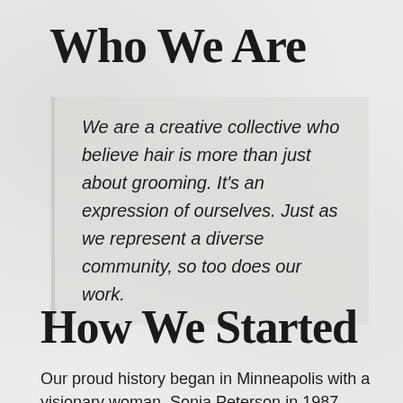Who We Are
We are a creative collective who believe hair is more than just about grooming. It’s an expression of ourselves. Just as we represent a diverse community, so too does our work.
How We Started
Our proud history began in Minneapolis with a visionary woman, Sonia Peterson in 1987. She